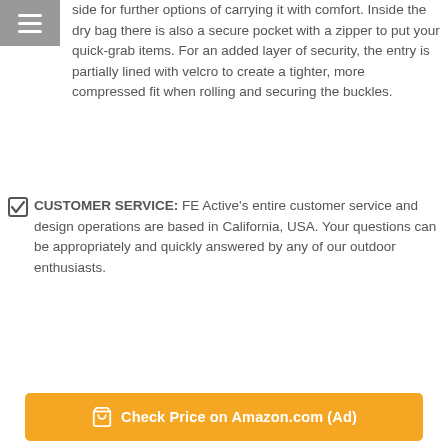side for further options of carrying it with comfort. Inside the dry bag there is also a secure pocket with a zipper to put your quick-grab items. For an added layer of security, the entry is partially lined with velcro to create a tighter, more compressed fit when rolling and securing the buckles.
CUSTOMER SERVICE: FE Active's entire customer service and design operations are based in California, USA. Your questions can be appropriately and quickly answered by any of our outdoor enthusiasts.
[Figure (other): Orange button with shopping cart icon reading 'Check Price on Amazon.com (Ad)']
iGeeKid 3 Pcs Girls Swimsuit Mermaid for Swimming Princess Mermaid Costume Bikini Set for 3-12Y(Height 45-47in(5-6Y), A-a Blue Sea)